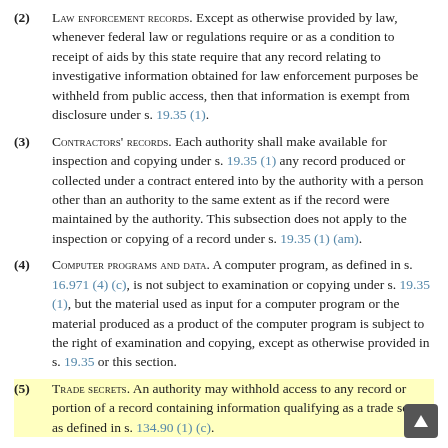(2) Law enforcement records. Except as otherwise provided by law, whenever federal law or regulations require or as a condition to receipt of aids by this state require that any record relating to investigative information obtained for law enforcement purposes be withheld from public access, then that information is exempt from disclosure under s. 19.35 (1).
(3) Contractors' records. Each authority shall make available for inspection and copying under s. 19.35 (1) any record produced or collected under a contract entered into by the authority with a person other than an authority to the same extent as if the record were maintained by the authority. This subsection does not apply to the inspection or copying of a record under s. 19.35 (1) (am).
(4) Computer programs and data. A computer program, as defined in s. 16.971 (4) (c), is not subject to examination or copying under s. 19.35 (1), but the material used as input for a computer program or the material produced as a product of the computer program is subject to the right of examination and copying, except as otherwise provided in s. 19.35 or this section.
(5) Trade secrets. An authority may withhold access to any record or portion of a record containing information qualifying as a trade secret as defined in s. 134.90 (1) (c).
(6) Separation of information. If a record contains information that is subject to disclosure under s. 19.35 (1) (a) or (am) and information that is not subject to such disclosure, the authority